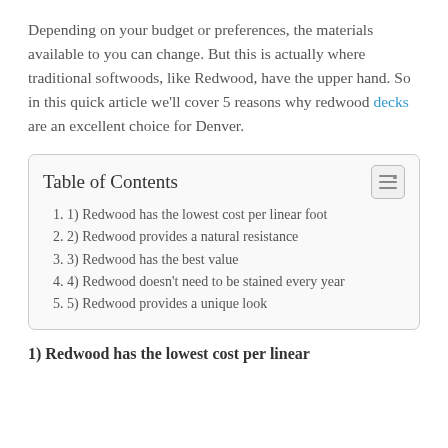Depending on your budget or preferences, the materials available to you can change. But this is actually where traditional softwoods, like Redwood, have the upper hand. So in this quick article we'll cover 5 reasons why redwood decks are an excellent choice for Denver.
| Table of Contents |
| --- |
| 1. 1) Redwood has the lowest cost per linear foot |
| 2. 2) Redwood provides a natural resistance |
| 3. 3) Redwood has the best value |
| 4. 4) Redwood doesn't need to be stained every year |
| 5. 5) Redwood provides a unique look |
1) Redwood has the lowest cost per linear